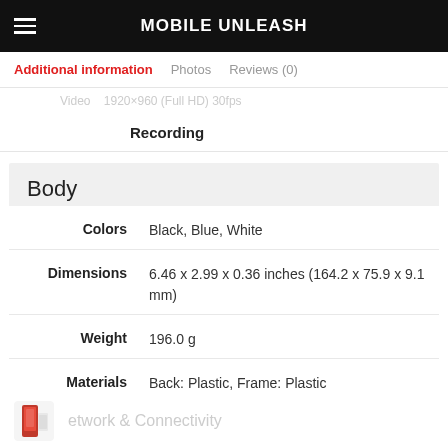MOBILE UNLEASH
Additional information | Photos | Reviews (0)
Video   1920×960 (Full HD) 30fps
Recording
Body
| Property | Value |
| --- | --- |
| Colors | Black, Blue, White |
| Dimensions | 6.46 x 2.99 x 0.36 inches (164.2 x 75.9 x 9.1 mm) |
| Weight | 196.0 g |
| Materials | Back: Plastic, Frame: Plastic |
etwork & Connectivity